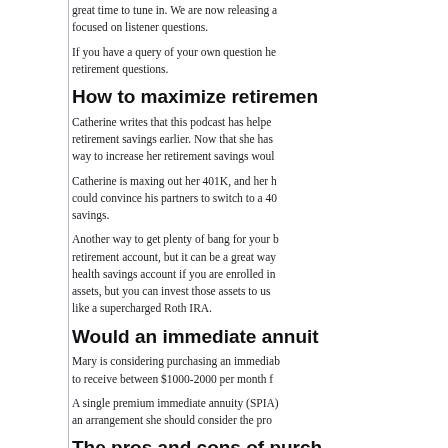great time to tune in. We are now releasing a show focused on listener questions.
If you have a query of your own question here about retirement questions.
How to maximize retirement...
Catherine writes that this podcast has helped her start retirement savings earlier. Now that she has, a great way to increase her retirement savings would...
Catherine is maxing out her 401K, and her husband could convince his partners to switch to a 401K savings.
Another way to get plenty of bang for your buck is a retirement account, but it can be a great way... health savings account if you are enrolled in... assets, but you can invest those assets to use... like a supercharged Roth IRA.
Would an immediate annuit...
Mary is considering purchasing an immediate annuity to receive between $1000-2000 per month f...
A single premium immediate annuity (SPIA)... an arrangement she should consider the pr...
The pros and cons of purch...
One of the main reasons that people consider... to manage her investments or worry about the... life. There is definitely an advantage to this k...